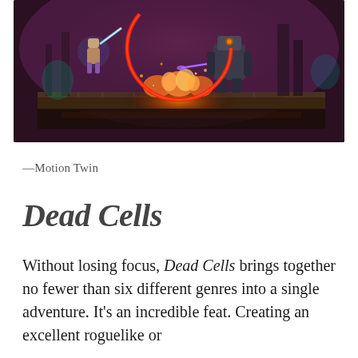[Figure (screenshot): Screenshot from the video game Dead Cells showing a 2D side-scrolling action scene with characters fighting on a platform against a dark purple/magenta background with fire and glowing effects. A large red circular arc (attack indicator) is visible in the upper center of the screen.]
—Motion Twin
Dead Cells
Without losing focus, Dead Cells brings together no fewer than six different genres into a single adventure. It's an incredible feat. Creating an excellent roguelike or